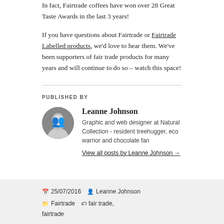In fact, Fairtrade coffees have won over 28 Great Taste Awards in the last 3 years!
If you have questions about Fairtrade or Fairtrade Labelled products, we'd love to hear them. We've been supporters of fair trade products for many years and will continue to do so – watch this space!
PUBLISHED BY
Leanne Johnson
Graphic and web designer at Natural Collection - resident treehugger, eco warrior and chocolate fan
View all posts by Leanne Johnson →
25/07/2016  Leanne Johnson  Fairtrade  fair trade, fairtrade